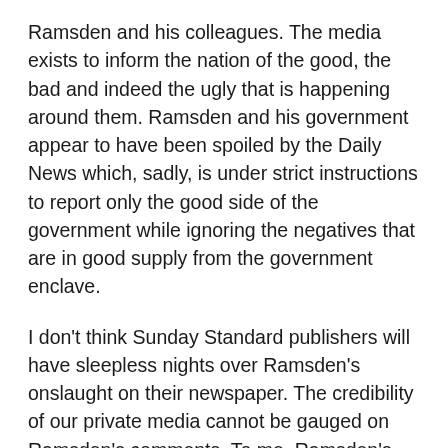Ramsden and his colleagues. The media exists to inform the nation of the good, the bad and indeed the ugly that is happening around them. Ramsden and his government appear to have been spoiled by the Daily News which, sadly, is under strict instructions to report only the good side of the government while ignoring the negatives that are in good supply from the government enclave.
I don't think Sunday Standard publishers will have sleepless nights over Ramsden's onslaught on their newspaper. The credibility of our private media cannot be gauged on Ramsden's comments. To me, Ramsden's comments only managed to expose the extent of his intellect and (in)-tolerance. What influence does Ramsden command in the society that can make us queue after his Sunday Standard boycott?